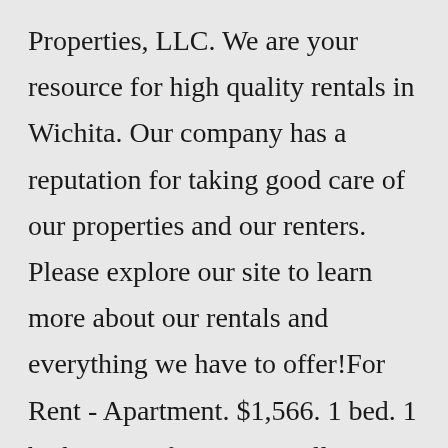Properties, LLC. We are your resource for high quality rentals in Wichita. Our company has a reputation for taking good care of our properties and our renters. Please explore our site to learn more about our rentals and everything we have to offer!For Rent - Apartment. $1,566. 1 bed. 1 bath. 585 sqft. 455 W Wellington Ave Apt 261. Chicago, IL 60657. Contact property. Brokered by @properties Bucktown. are